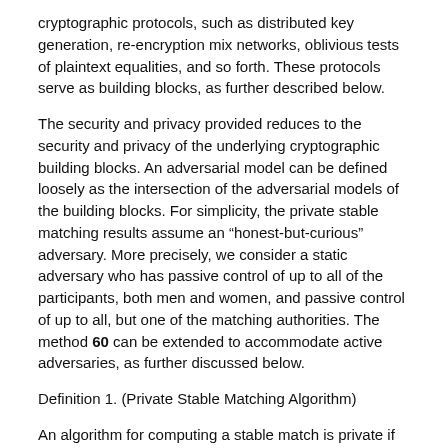cryptographic protocols, such as distributed key generation, re-encryption mix networks, oblivious tests of plaintext equalities, and so forth. These protocols serve as building blocks, as further described below.
The security and privacy provided reduces to the security and privacy of the underlying cryptographic building blocks. An adversarial model can be defined loosely as the intersection of the adversarial models of the building blocks. For simplicity, the private stable matching results assume an “honest-but-curious” adversary. More precisely, we consider a static adversary who has passive control of up to all of the participants, both men and women, and passive control of up to all, but one of the matching authorities. The method 60 can be extended to accommodate active adversaries, as further discussed below.
Definition 1. (Private Stable Matching Algorithm)
An algorithm for computing a stable match is private if the algorithm outputs a stable match and reveals no other information to the adversary than what the adversary can learn from the match and from the preferences of the